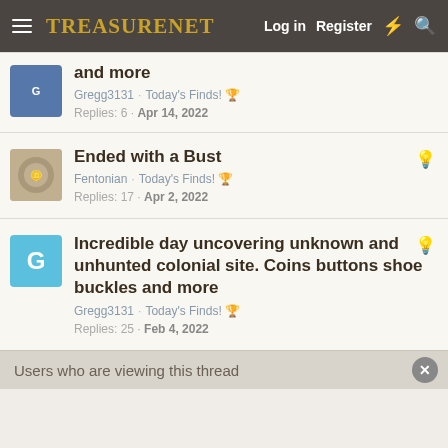TreasureNet  Log in  Register
and more
Gregg3131 · Today's Finds! 🏆
Replies: 6 · Apr 14, 2022
Ended with a Bust
Fentonian · Today's Finds! 🏆
Replies: 17 · Apr 2, 2022
Incredible day uncovering unknown and unhunted colonial site. Coins buttons shoe buckles and more
Gregg3131 · Today's Finds! 🏆
Replies: 25 · Feb 4, 2022
Users who are viewing this thread